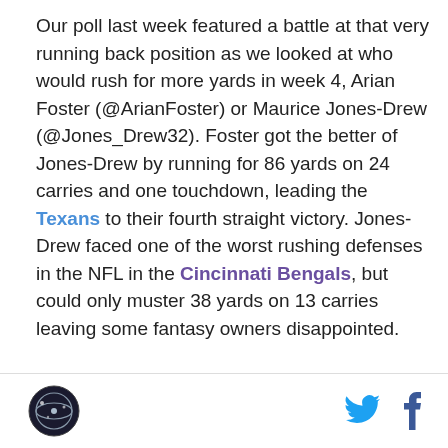Our poll last week featured a battle at that very running back position as we looked at who would rush for more yards in week 4, Arian Foster (@ArianFoster) or Maurice Jones-Drew (@Jones_Drew32). Foster got the better of Jones-Drew by running for 86 yards on 24 carries and one touchdown, leading the Texans to their fourth straight victory. Jones-Drew faced one of the worst rushing defenses in the NFL in the Cincinnati Bengals, but could only muster 38 yards on 13 carries leaving some fantasy owners disappointed.

In this week's edition of The Extra Point Poll presented by XFINITY, we will take a look at two quarterbacks coming off of a bye week: Andrew Luck and Ben Roethlisberger (@_BigBen7). Luck will be at home to...
[logo] [twitter icon] [facebook icon]